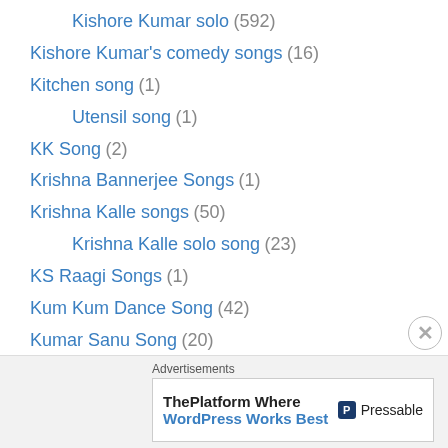Kishore Kumar solo (592)
Kishore Kumar's comedy songs (16)
Kitchen song (1)
Utensil song (1)
KK Song (2)
Krishna Bannerjee Songs (1)
Krishna Kalle songs (50)
Krishna Kalle solo song (23)
KS Raagi Songs (1)
Kum Kum Dance Song (42)
Kumar Sanu Song (20)
Kumar Sanu Solo Song (6)
Kunal Ganjawala Songs (1)
Kunal Ganjawala Solo Songs (1)
Lakshmi Chhaaya Dance Songs (2)
Lalita Deulkar songs (11)
Advertisements
[Figure (other): Pressable advertisement banner: 'ThePlatform Where WordPress Works Best' with Pressable logo]